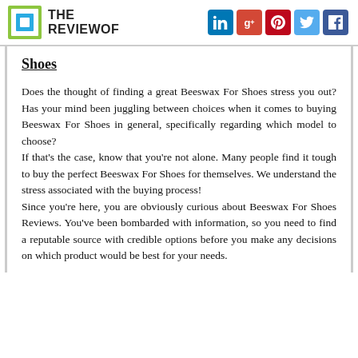THE REVIEWOF — with LinkedIn, Google+, Pinterest, Twitter, Facebook social icons
Shoes
Does the thought of finding a great Beeswax For Shoes stress you out? Has your mind been juggling between choices when it comes to buying Beeswax For Shoes in general, specifically regarding which model to choose?
If that's the case, know that you're not alone. Many people find it tough to buy the perfect Beeswax For Shoes for themselves. We understand the stress associated with the buying process!
Since you're here, you are obviously curious about Beeswax For Shoes Reviews. You've been bombarded with information, so you need to find a reputable source with credible options before you make any decisions on which product would be best for your needs.